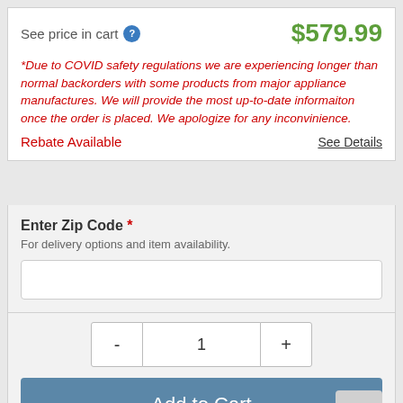See price in cart
$579.99
*Due to COVID safety regulations we are experiencing longer than normal backorders with some products from major appliance manufactures. We will provide the most up-to-date informaiton once the order is placed. We apologize for any inconvinience.
Rebate Available
See Details
Enter Zip Code *
For delivery options and item availability.
1
Add to Cart